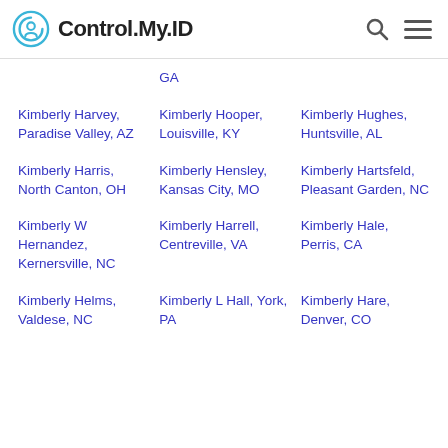Control.My.ID
GA
Kimberly Harvey, Paradise Valley, AZ
Kimberly Hooper, Louisville, KY
Kimberly Hughes, Huntsville, AL
Kimberly Harris, North Canton, OH
Kimberly Hensley, Kansas City, MO
Kimberly Hartsfeld, Pleasant Garden, NC
Kimberly W Hernandez, Kernersville, NC
Kimberly Harrell, Centreville, VA
Kimberly Hale, Perris, CA
Kimberly Helms, Valdese, NC
Kimberly L Hall, York, PA
Kimberly Hare, Denver, CO